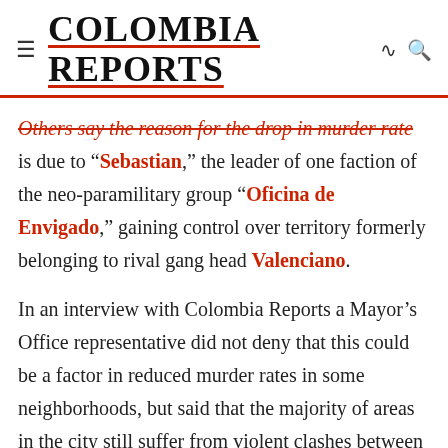COLOMBIA REPORTS
Others say the reason for the drop in murder rate is due to “Sebastian,” the leader of one faction of the neo-paramilitary group “Oficina de Envigado,” gaining control over territory formerly belonging to rival gang head Valenciano.
In an interview with Colombia Reports a Mayor’s Office representative did not deny that this could be a factor in reduced murder rates in some neighborhoods, but said that the majority of areas in the city still suffer from violent clashes between gangs. According to the representative, no single boss has controlled Medellin’s underworld since paramilitary leader “Don Berna,” who